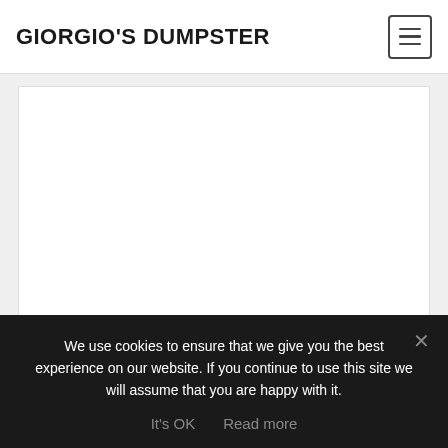GIORGIO'S DUMPSTER
English, Personal
Blog, English, Personal
← PREVIOUS
We use cookies to ensure that we give you the best experience on our website. If you continue to use this site we will assume that you are happy with it.
It's OK   Read more